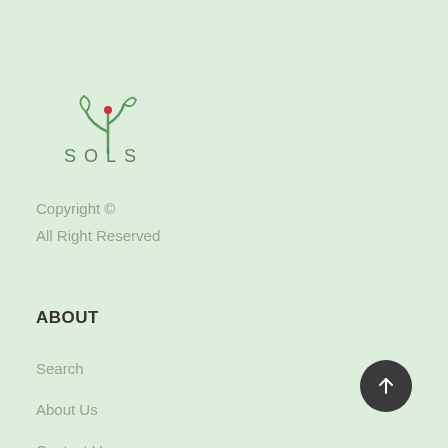[Figure (logo): SOLS brand logo with a stylized green plant/sprout icon above the text 'SOLS' in spaced green lettering with a small red accent]
Copyright ©
All Right Reserved
ABOUT
Search
About Us
Contact Us
[Figure (illustration): Dark circular scroll-to-top button with upward arrow icon, positioned in the bottom right corner]